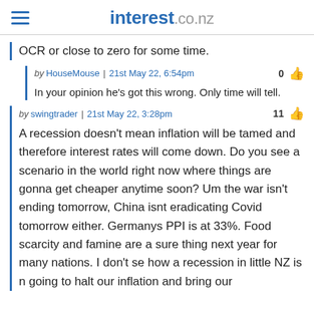interest.co.nz
OCR or close to zero for some time.
by HouseMouse | 21st May 22, 6:54pm   0
In your opinion he's got this wrong. Only time will tell.
by swingtrader | 21st May 22, 3:28pm   11
A recession doesn't mean inflation will be tamed and therefore interest rates will come down. Do you see a scenario in the world right now where things are gonna get cheaper anytime soon? Um the war isn't ending tomorrow, China isnt eradicating Covid tomorrow either. Germanys PPI is at 33%. Food scarcity and famine are a sure thing next year for many nations. I don't se how a recession in little NZ is n going to halt our inflation and bring our